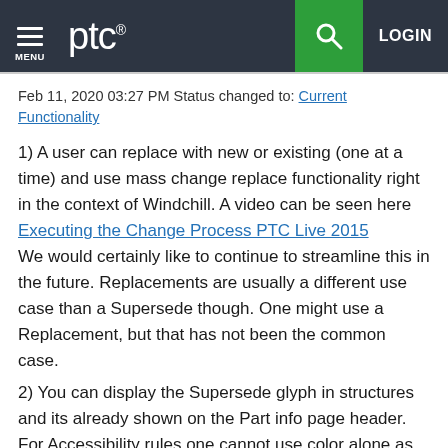MENU | ptc® | [search] | LOGIN
Feb 11, 2020 03:27 PM Status changed to: Current Functionality
1) A user can replace with new or existing (one at a time) and use mass change replace functionality right in the context of Windchill.  A video can be seen here Executing the Change Process PTC Live 2015
We would certainly like to continue to streamline this in the future.  Replacements are usually a different use case than a Supersede though.  One might use a Replacement, but that has not been the common case.
2) You can display the Supersede glyph in structures and its already shown on the Part info page header.  For Accessibility rules one cannot use color alone as